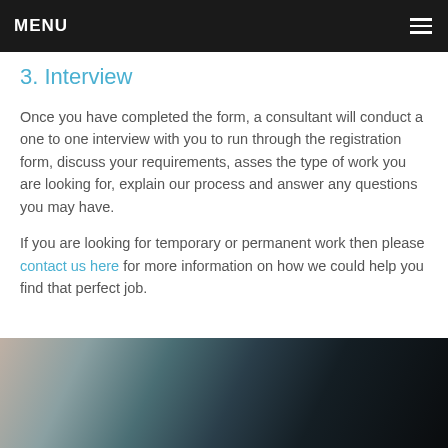MENU
3. Interview
Once you have completed the form, a consultant will conduct a one to one interview with you to run through the registration form, discuss your requirements, asses the type of work you are looking for, explain our process and answer any questions you may have.
If you are looking for temporary or permanent work then please contact us here for more information on how we could help you find that perfect job.
[Figure (photo): Partially visible dark photograph, appears to show a person in a dark setting — cropped at page bottom.]